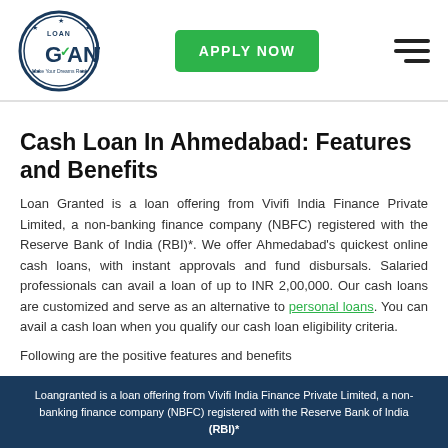[Figure (logo): Loan Granted circular logo with checkmark and text 'Make Your Dreams Real']
Cash Loan In Ahmedabad: Features and Benefits
Loan Granted is a loan offering from Vivifi India Finance Private Limited, a non-banking finance company (NBFC) registered with the Reserve Bank of India (RBI)*. We offer Ahmedabad's quickest online cash loans, with instant approvals and fund disbursals. Salaried professionals can avail a loan of up to INR 2,00,000. Our cash loans are customized and serve as an alternative to personal loans. You can avail a cash loan when you qualify our cash loan eligibility criteria.
Following are the positive features and benefits
Loangranted is a loan offering from Vivifi India Finance Private Limited, a non-banking finance company (NBFC) registered with the Reserve Bank of India (RBI)*